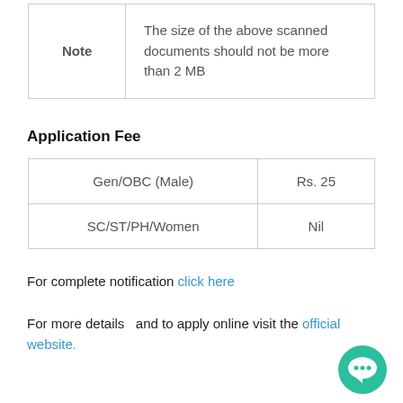| Note | The size of the above scanned documents should not be more than 2 MB |
Application Fee
| Gen/OBC (Male) | Rs. 25 |
| SC/ST/PH/Women | Nil |
For complete notification click here
For more details  and to apply online visit the official website.